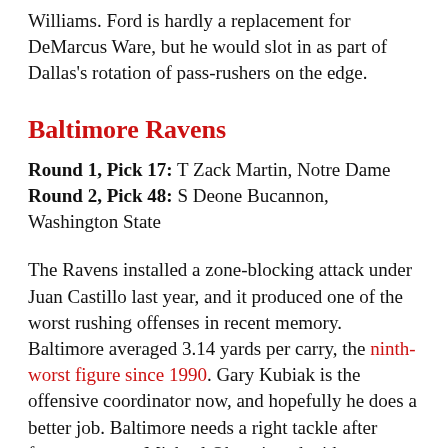Williams. Ford is hardly a replacement for DeMarcus Ware, but he would slot in as part of Dallas's rotation of pass-rushers on the edge.
Baltimore Ravens
Round 1, Pick 17: T Zack Martin, Notre Dame
Round 2, Pick 48: S Deone Bucannon, Washington State
The Ravens installed a zone-blocking attack under Juan Castillo last year, and it produced one of the worst rushing offenses in recent memory. Baltimore averaged 3.14 yards per carry, the ninth-worst figure since 1990. Gary Kubiak is the offensive coordinator now, and hopefully he does a better job. Baltimore needs a right tackle after famous person Michael Oher signed with Tennessee, and Martin has the athleticism and frame to play in Kubiak's scheme. Bucannon would be a complementary piece to 2013 first-